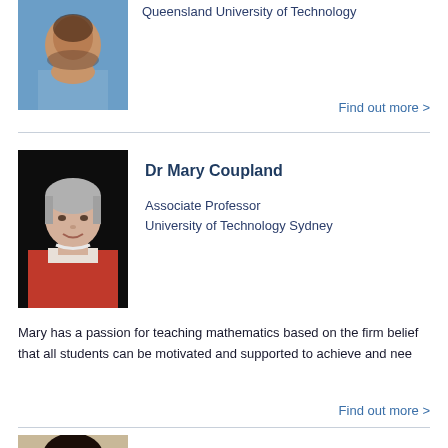[Figure (photo): Partial photo of a man in a blue shirt (previous entry, cropped at top)]
Queensland University of Technology
Find out more >
[Figure (photo): Photo of Dr Mary Coupland, a woman with short grey hair wearing a red blazer, against a dark background]
Dr Mary Coupland
Associate Professor
University of Technology Sydney
Mary has a passion for teaching mathematics based on the firm belief that all students can be motivated and supported to achieve and nee
Find out more >
[Figure (photo): Partial photo of Ms Tanya Dodgen, a woman with long dark hair]
Ms Tanya Dodgen